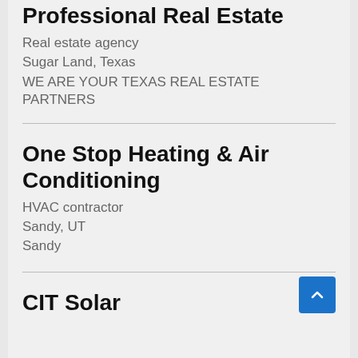The Valiny Team Professional Real Estate
Real estate agency
Sugar Land, Texas
WE ARE YOUR TEXAS REAL ESTATE PARTNERS
One Stop Heating & Air Conditioning
HVAC contractor
Sandy, UT
Sandy
CIT Solar